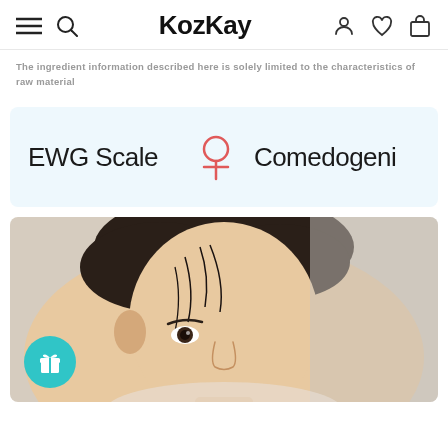KozKay
The ingredient information described here is solely limited to the characteristics of raw material
EWG Scale   Comedogeni
[Figure (photo): Close-up portrait of an Asian woman with dark hair pulled back, looking at the camera. A teal circular gift/reward button is overlaid at the bottom-left of the image.]